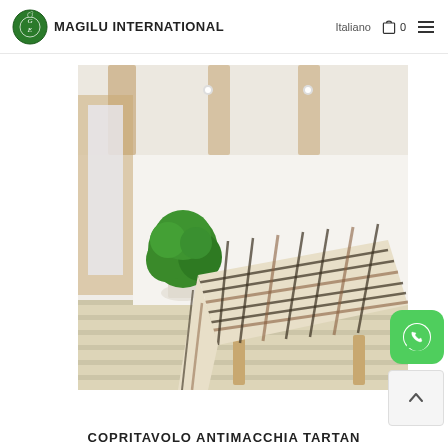MAGILU INTERNATIONAL  Italiano  0
[Figure (photo): Product photo of a checkered/plaid tablecloth draped over a wooden table in a modern minimalist room with wooden beams ceiling, white walls, and a potted green plant.]
COPRITAVOLO ANTIMACCHIA TARTAN